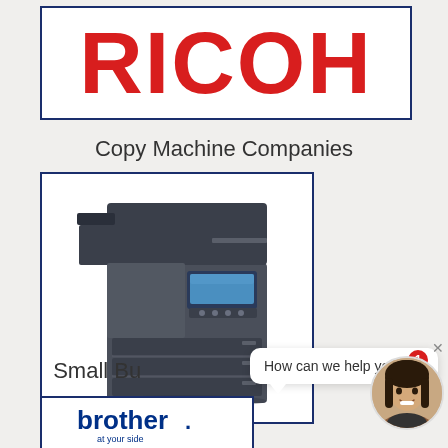[Figure (logo): RICOH company logo in bold red text on white background inside a dark blue border box]
Copy Machine Companies
[Figure (photo): Photo of a large dark grey Kyocera multifunction copier/printer with paper trays and document feeder, inside a white box with dark blue border]
Small Bu... ite
[Figure (logo): Brother logo with 'at your side' tagline in blue text on white background]
How can we help you?